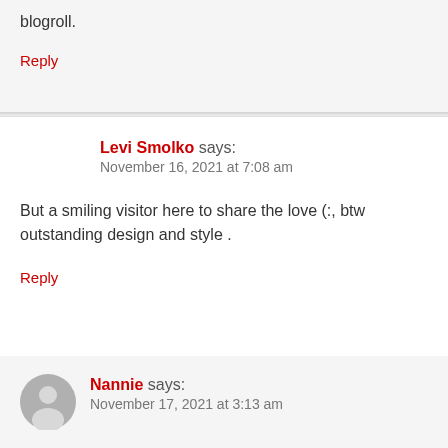I've included you guys to our blogroll.
Reply
Levi Smolko says:
November 16, 2021 at 7:08 am
But a smiling visitor here to share the love (:, btw outstanding design and style .
Reply
[Figure (illustration): Default user avatar silhouette in gray circle]
Nannie says:
November 17, 2021 at 3:13 am